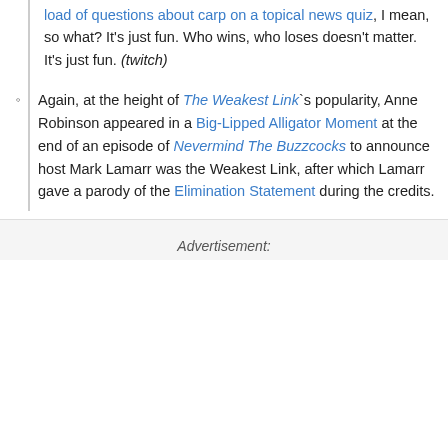load of questions about carp on a topical news quiz, I mean, so what? It's just fun. Who wins, who loses doesn't matter. It's just fun. (twitch)
Again, at the height of The Weakest Link`s popularity, Anne Robinson appeared in a Big-Lipped Alligator Moment at the end of an episode of Nevermind The Buzzcocks to announce host Mark Lamarr was the Weakest Link, after which Lamarr gave a parody of the Elimination Statement during the credits.
Advertisement: